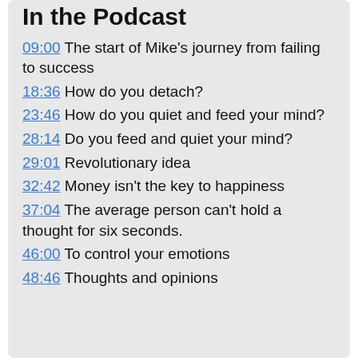In the Podcast
09:00 The start of Mike's journey from failing to success
18:36 How do you detach?
23:46 How do you quiet and feed your mind?
28:14 Do you feed and quiet your mind?
29:01 Revolutionary idea
32:42 Money isn't the key to happiness
37:04 The average person can't hold a thought for six seconds.
46:00 To control your emotions
48:46 Thoughts and opinions